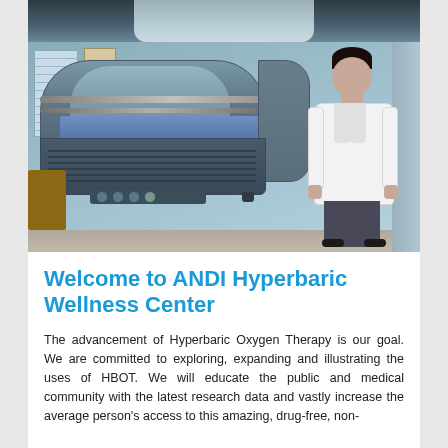[Figure (photo): Photo of a hyperbaric oxygen therapy chamber in a clinical room with a medical professional in a white lab coat standing beside it]
Welcome to ANDI Hyperbaric Wellness Center
The advancement of Hyperbaric Oxygen Therapy is our goal. We are committed to exploring, expanding and illustrating the uses of HBOT. We will educate the public and medical community with the latest research data and vastly increase the average person's access to this amazing, drug-free, non-